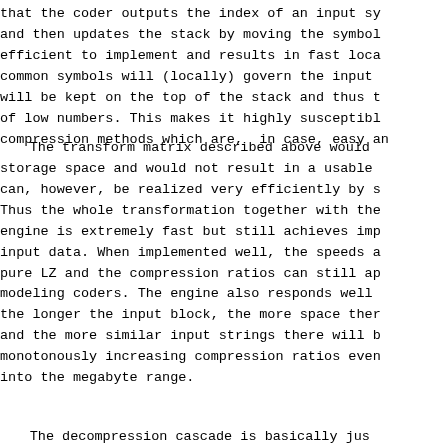that the coder outputs the index of an input sy and then updates the stack by moving the symbol efficient to implement and results in fast loca common symbols will (locally) govern the input will be kept on the top of the stack and thus t of low numbers. This makes it highly susceptibl compression methods which are, in case, easy an
The transform matrix described above would storage space and would not result in a usable can, however, be realized very efficiently by s Thus the whole transformation together with the engine is extremely fast but still achieves imp input data. When implemented well, the speeds a pure LZ and the compression ratios can still ap modeling coders. The engine also responds well the longer the input block, the more space ther and the more similar input strings there will b monotonously increasing compression ratios even into the megabyte range.
The decompression cascade is basically jus